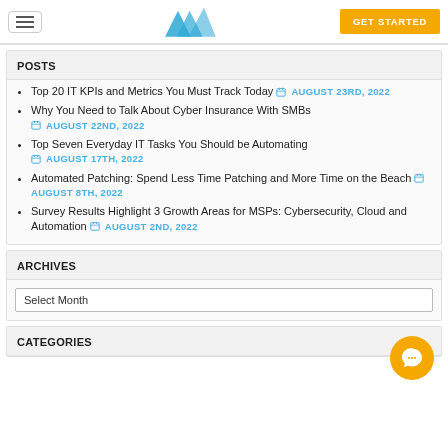GET STARTED
POSTS
Top 20 IT KPIs and Metrics You Must Track Today  AUGUST 23RD, 2022
Why You Need to Talk About Cyber Insurance With SMBs  AUGUST 22ND, 2022
Top Seven Everyday IT Tasks You Should be Automating  AUGUST 17TH, 2022
Automated Patching: Spend Less Time Patching and More Time on the Beach  AUGUST 8TH, 2022
Survey Results Highlight 3 Growth Areas for MSPs: Cybersecurity, Cloud and Automation  AUGUST 2ND, 2022
ARCHIVES
Select Month
CATEGORIES